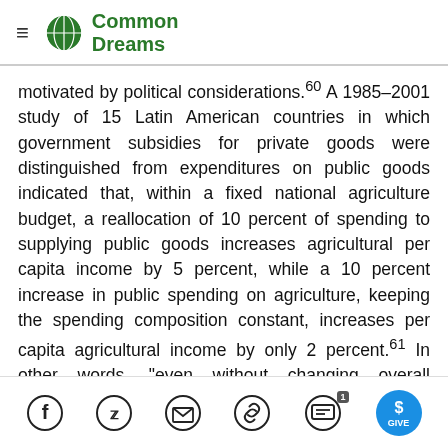Common Dreams
motivated by political considerations.µ60 A 1985–2001 study of 15 Latin American countries in which government subsidies for private goods were distinguished from expenditures on public goods indicated that, within a fixed national agriculture budget, a reallocation of 10 percent of spending to supplying public goods increases agricultural per capita income by 5 percent, while a 10 percent increase in public spending on agriculture, keeping the spending composition constant, increases per capita agricultural income by only 2 percent.61 In other words, “even without changing overall expenditures, governments can improve the economic performance of their
Social share icons: Facebook, Twitter, Email, Link, Comment (1), Give